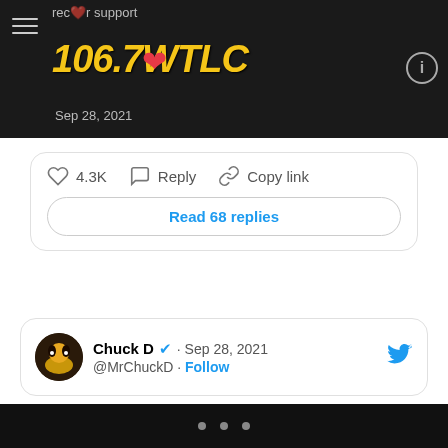106.7 WTLC
4.3K  Reply  Copy link
Read 68 replies
Chuck D · Sep 28, 2021
@MrChuckD · Follow
navigation dots